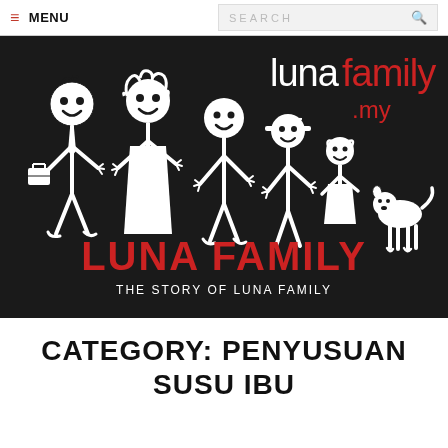≡ MENU   SEARCH 🔍
[Figure (illustration): Dark background banner showing stick figure family (man with briefcase, woman, boy, girl with hat, smaller girl, dog) with text 'lunafamily.my' in white and red, 'LUNA FAMILY' in large red bold text, and 'THE STORY OF LUNA FAMILY' in white below]
CATEGORY: PENYUSUAN SUSU IBU